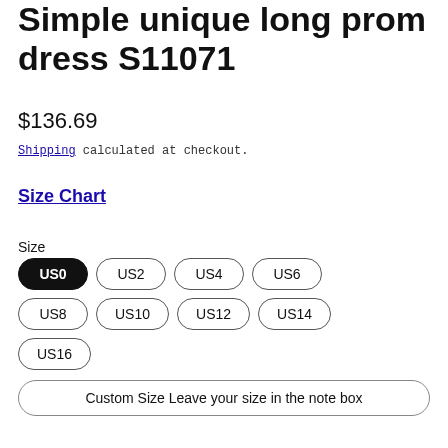Simple unique long prom dress S11071
$136.69
Shipping calculated at checkout.
Size Chart
Size
US0 (selected)
US2
US4
US6
US8
US10
US12
US14
US16
Custom Size Leave your size in the note box